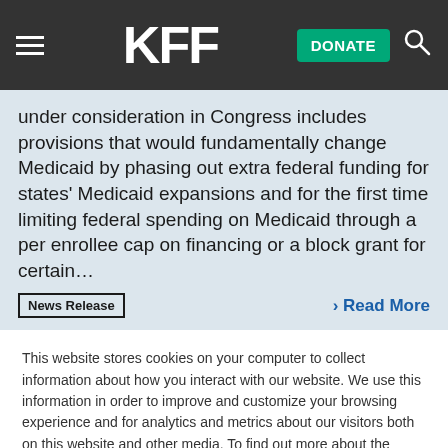KFF | DONATE
under consideration in Congress includes provisions that would fundamentally change Medicaid by phasing out extra federal funding for states' Medicaid expansions and for the first time limiting federal spending on Medicaid through a per enrollee cap on financing or a block grant for certain…
News Release   > Read More
This website stores cookies on your computer to collect information about how you interact with our website. We use this information in order to improve and customize your browsing experience and for analytics and metrics about our visitors both on this website and other media. To find out more about the cookies we use, see our Privacy Policy.
Accept